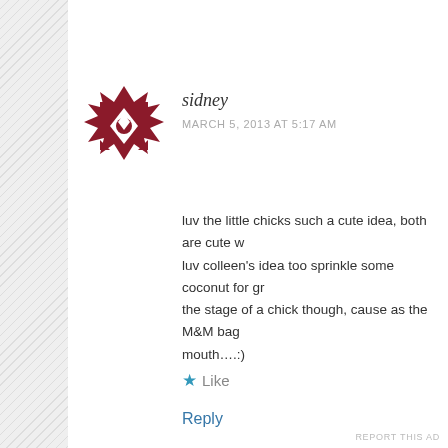[Figure (illustration): Dark red/maroon geometric star/snowflake avatar icon for user 'sidney']
sidney
MARCH 5, 2013 AT 5:17 AM
luv the little chicks such a cute idea, both are cute w luv colleen's idea too sprinkle some coconut for gr the stage of a chick though, cause as the M&M bag mouth….:)
★ Like
Reply
[Figure (illustration): Small circular avatar showing a cupcake/muffin icon for user 'sweetsimplestuff']
sweetsimplestuff
MARCH 5, 2013 AT 8:23 AM
Advertisements